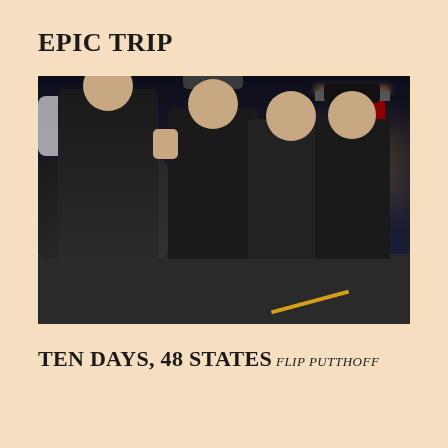EPIC TRIP
[Figure (photo): Night photo of four men in motorcycle gear (leather jackets, vests with patches) at a gas station parking lot. One man in front sits on a motorcycle wearing a purple bandana and glasses. Two men in the middle are waving with raised hands. A fourth man stands on the right wearing a Harley-Davidson jacket. A blue travel bag is visible on the motorcycle. A white SUV is in the background left, and a red gas pump is visible in the background right.]
TEN DAYS, 48 STATES
FLIP PUTTHOFF